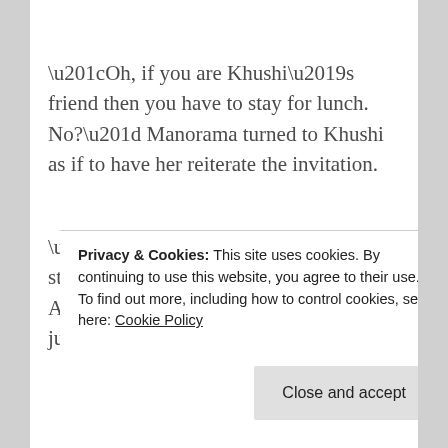“Oh, if you are Khushi’s friend then you have to stay for lunch. No?” Manorama turned to Khushi as if to have her reiterate the invitation.
“Thank you, but no, I cannot stay.” Moving towards the foyer Arnav bent to put his shoes on. “I just wanted to…”
Privacy & Cookies: This site uses cookies. By continuing to use this website, you agree to their use.
To find out more, including how to control cookies, see here: Cookie Policy
now. Three sets of eyes, two expressing shock